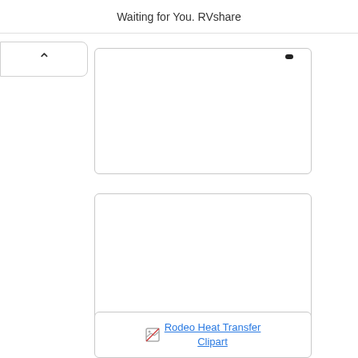Waiting for You. RVshare
[Figure (other): Back/up chevron button UI element]
[Figure (other): Empty white card box with rounded border, partially visible at top]
[Figure (other): Empty white card box with rounded border, large]
[Figure (other): Card box with broken image icon and link text: Rodeo Heat Transfer Clipart]